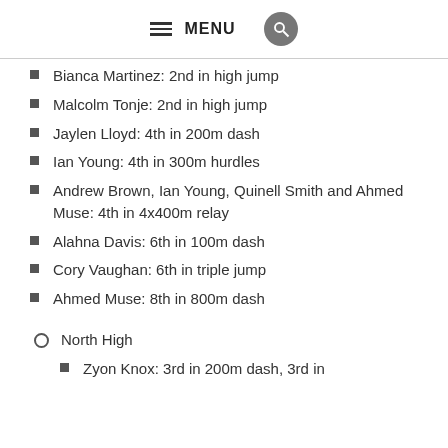MENU
Bianca Martinez: 2nd in high jump
Malcolm Tonje: 2nd in high jump
Jaylen Lloyd: 4th in 200m dash
Ian Young: 4th in 300m hurdles
Andrew Brown, Ian Young, Quinell Smith and Ahmed Muse: 4th in 4x400m relay
Alahna Davis: 6th in 100m dash
Cory Vaughan: 6th in triple jump
Ahmed Muse: 8th in 800m dash
North High
Zyon Knox: 3rd in 200m dash, 3rd in